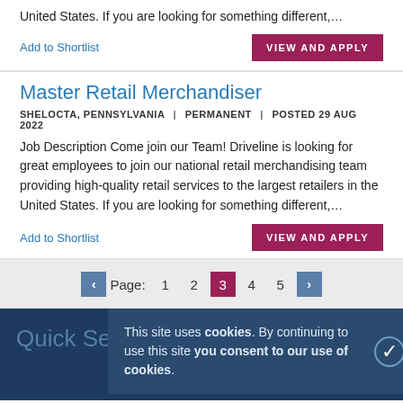United States. If you are looking for something different,...
Add to Shortlist
VIEW AND APPLY
Master Retail Merchandiser
SHELOCTA, PENNSYLVANIA  |  PERMANENT  |  POSTED 29 AUG 2022
Job Description Come join our Team! Driveline is looking for great employees to join our national retail merchandising team providing high-quality retail services to the largest retailers in the United States. If you are looking for something different,...
Add to Shortlist
VIEW AND APPLY
Page: 1 2 3 4 5
This site uses cookies. By continuing to use this site you consent to our use of cookies.
Quick Search